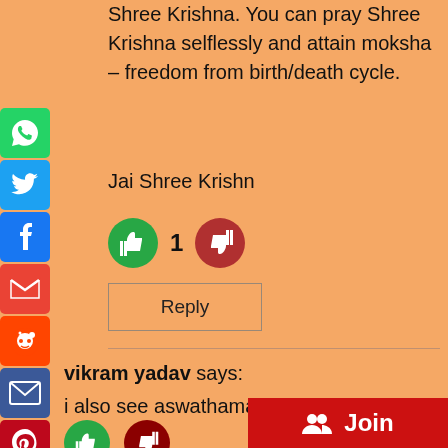Shree Krishna. You can pray Shree Krishna selflessly and attain moksha – freedom from birth/death cycle.
Jai Shree Krishn
[Figure (infographic): Thumbs up (green circle) with count 1 and thumbs down (dark red circle) vote buttons]
Reply
vikram yadav says:
i also see aswathama and his look
[Figure (infographic): Thumbs up (green) and thumbs down (dark red) vote buttons for second comment]
Join